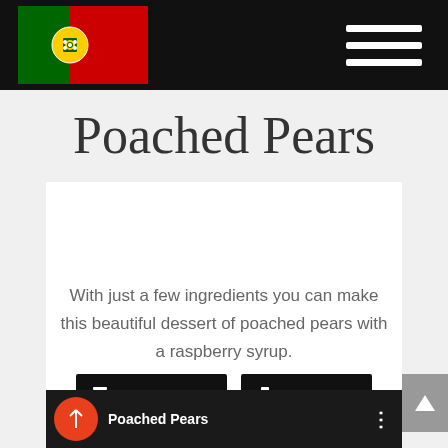Navigation header with Portuguese flag logo and hamburger menu
Poached Pears
With just a few ingredients you can make this beautiful dessert of poached pears with a raspberry syrup.
Jump to Recipe | Print Recipe
[Figure (screenshot): Video thumbnail showing Poached Pears with dark background, orange circular logo icon on left, text 'Poached Pears' and three-dot menu on right]